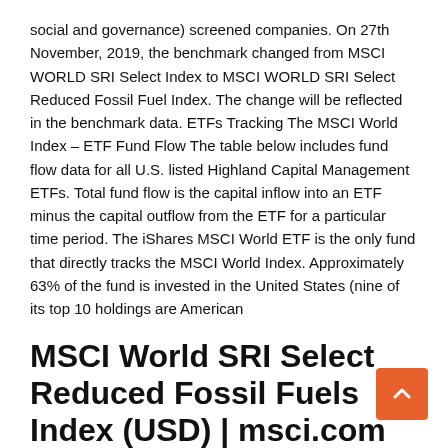social and governance) screened companies. On 27th November, 2019, the benchmark changed from MSCI WORLD SRI Select Index to MSCI WORLD SRI Select Reduced Fossil Fuel Index. The change will be reflected in the benchmark data. ETFs Tracking The MSCI World Index – ETF Fund Flow The table below includes fund flow data for all U.S. listed Highland Capital Management ETFs. Total fund flow is the capital inflow into an ETF minus the capital outflow from the ETF for a particular time period. The iShares MSCI World ETF is the only fund that directly tracks the MSCI World Index. Approximately 63% of the fund is invested in the United States (nine of its top 10 holdings are American
MSCI World SRI Select Reduced Fossil Fuels Index (USD) | msci.com The MSCI World SRI Select